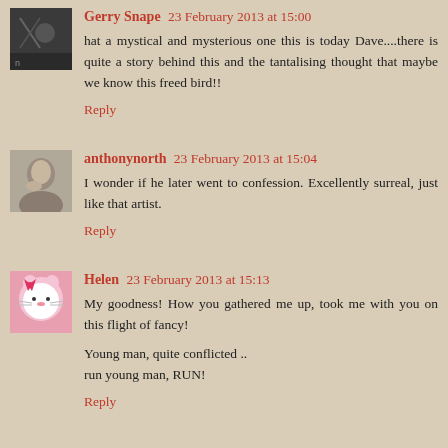Gerry Snape 23 February 2013 at 15:00
hat a mystical and mysterious one this is today Dave....there is quite a story behind this and the tantalising thought that maybe we know this freed bird!!
Reply
anthonynorth 23 February 2013 at 15:04
I wonder if he later went to confession. Excellently surreal, just like that artist.
Reply
Helen 23 February 2013 at 15:13
My goodness! How you gathered me up, took me with you on this flight of fancy!
Young man, quite conflicted ..
run young man, RUN!
Reply